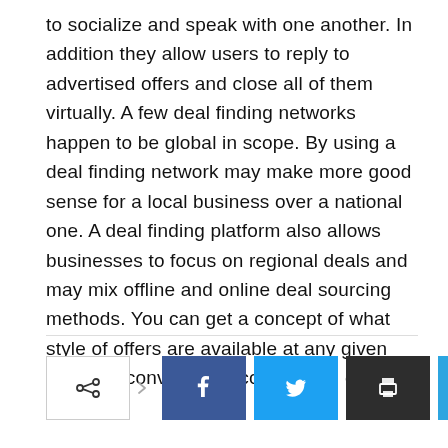to socialize and speak with one another. In addition they allow users to reply to advertised offers and close all of them virtually. A few deal finding networks happen to be global in scope. By using a deal finding network may make more good sense for a local business over a national one. A deal finding platform also allows businesses to focus on regional deals and may mix offline and online deal sourcing methods. You can get a concept of what style of offers are available at any given time and conveniently compare all of them.
[Figure (infographic): Social share bar with share icon button with outline border, arrow indicator, and four social media icon buttons: Facebook (blue), Twitter (light blue), Print (dark/black), Telegram (light blue)]